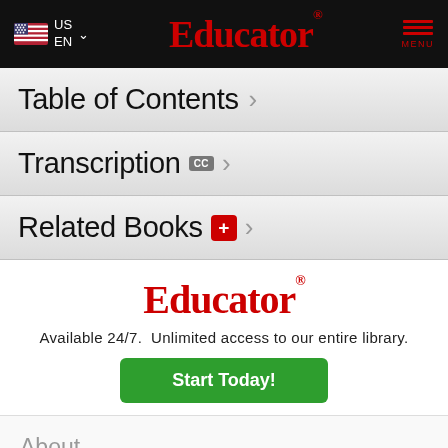Educator
Table of Contents
Transcription
Related Books
Educator
Available 24/7. Unlimited access to our entire library.
Start Today!
About
Teach
Contact